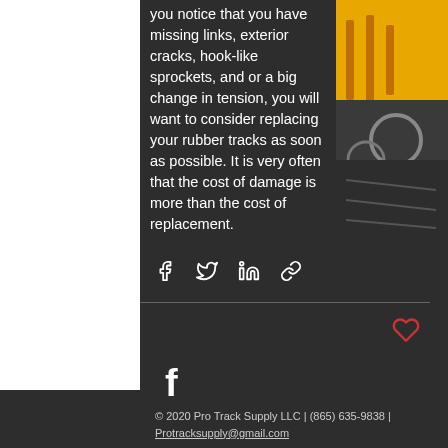you notice that you have missing links, exterior cracks, hook-like sprockets, and or a big change in tension, you will want to consider replacing your rubber tracks as soon as possible. It is very often that the cost of damage is more than the cost of replacement.
[Figure (photo): Photo of heavy equipment tracks or machinery in yellow/orange color, partial view top-right corner]
[Figure (infographic): Social share buttons: Facebook share, Twitter share, LinkedIn share, and link/copy icon]
[Figure (infographic): Heart/like button icon (outline heart in red/coral color)]
[Figure (logo): Facebook logo icon in white]
© 2020 Pro Track Supply LLC | (865) 635-9838 | Protracksupply@gmail.com